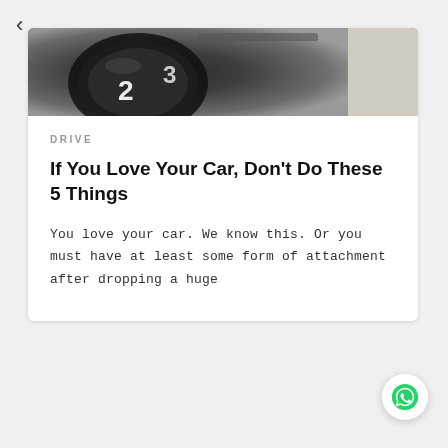[Figure (photo): Close-up photo of a car gear shift knob showing numbers 2 and 3 on a dark dashboard panel]
DRIVE
If You Love Your Car, Don't Do These 5 Things
You love your car. We know this. Or you must have at least some form of attachment after dropping a huge